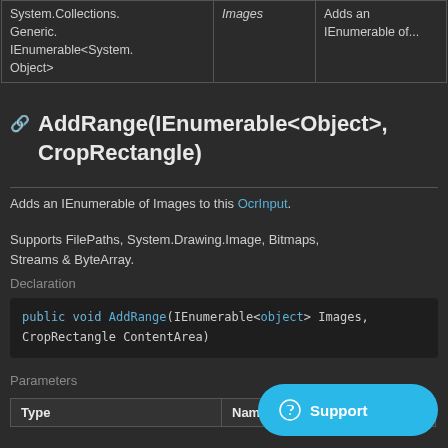| Type | Name |
| --- | --- |
| System.Collections.Generic.IEnumerable<System.Object> | Images | Adds an IEnumerable of... |
AddRange(IEnumerable<Object>, CropRectangle)
Adds an IEnumerable of Images to this OcrInput.
Supports FilePaths, System.Drawing.Image, Bitmaps, Streams & ByteArray.
Declaration
public void AddRange(IEnumerable<object> Images, CropRectangle ContentArea)
Parameters
| Type | Name |
| --- | --- |